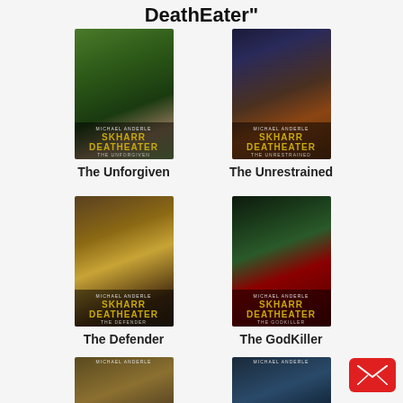DeathEater"
[Figure (illustration): Book cover for 'Skharr DeathEater: The Unforgiven' by Michael Anderle, showing a fantasy warrior scene with a creature, green jungle background]
The Unforgiven
[Figure (illustration): Book cover for 'Skharr DeathEater: The Unrestrained' by Michael Anderle, showing a fantasy warrior scene with dark blue and brown tones]
The Unrestrained
[Figure (illustration): Book cover for 'Skharr DeathEater: The Defender' by Michael Anderle, showing a fantasy warrior in gold/brown desert tones]
The Defender
[Figure (illustration): Book cover for 'Skharr DeathEater: The GodKiller' by Michael Anderle, showing a fantasy scene with a serpent and dark green tones]
The GodKiller
[Figure (illustration): Partial book cover at bottom left, Skharr DeathEater series]
[Figure (illustration): Partial book cover at bottom right, Skharr DeathEater series]